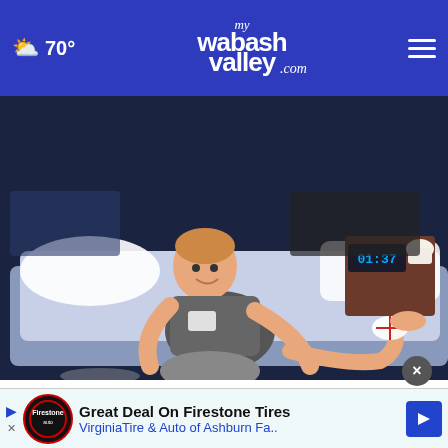70° mywabashvalley.com
[Figure (illustration): Cartoon illustration of a man sitting on a bed at night, holding his leg/ankle. A digital clock showing 01:37 is visible on the nightstand. The scene is drawn in a flat vector style with blue, grey, and skin tones.]
Hepatitis C Signs Many People May Wish They Identified Them Sooner
Hep C | Sponsored Links
[Figure (photo): Partial view of a person's head/hair visible at the bottom of the page, cropped advertisement area.]
Great Deal On Firestone Tires VirginiaTire & Auto of Ashburn Fa..